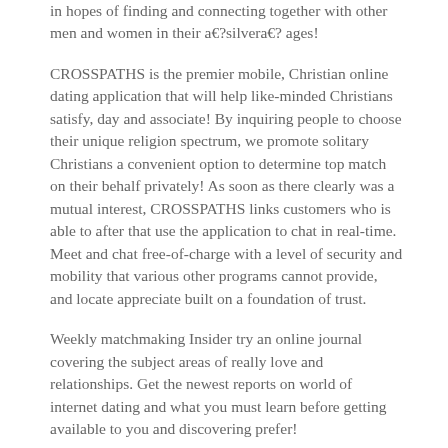in hopes of finding and connecting together with other men and women in their a€?silvera€? ages!
CROSSPATHS is the premier mobile, Christian online dating application that will help like-minded Christians satisfy, day and associate! By inquiring people to choose their unique religion spectrum, we promote solitary Christians a convenient option to determine top match on their behalf privately! As soon as there clearly was a mutual interest, CROSSPATHS links customers who is able to after that use the application to chat in real-time. Meet and chat free-of-charge with a level of security and mobility that various other programs cannot provide, and locate appreciate built on a foundation of trust.
Weekly matchmaking Insider try an online journal covering the subject areas of really love and relationships. Get the newest reports on world of internet dating and what you must learn before getting available to you and discovering prefer!
Established in 2007, appealing globe try a top-quality